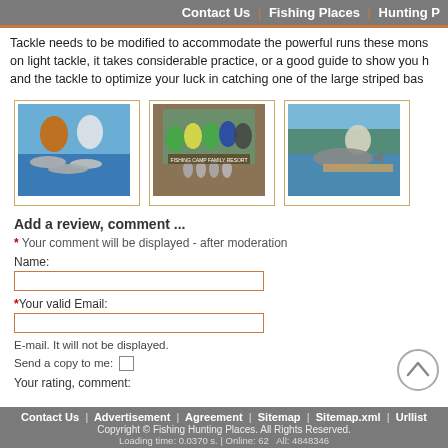Contact Us | Fishing Places | Hunting P
Tackle needs to be modified to accommodate the powerful runs these mons on light tackle, it takes considerable practice, or a good guide to show you h and the tackle to optimize your luck in catching one of the large striped bas
[Figure (photo): Two people holding striped bass fish outdoors near water]
[Figure (photo): Group of people including children holding fish at a fishing resort]
[Figure (photo): Person on a boat holding a large striped bass fish]
Add a review, comment ...
* Your comment will be displayed - after moderation
Name:
*Your valid Email:
E-mail. It will not be displayed.
Send a copy to me:
Your rating, comment:
Contact Us | Advertisement | Agreement | Sitemap | Sitemap.xml | Urllist
Copyright © Fishing Hunting Places. All Rights Reserved.
Loading time: 0.0370 s. | Online: 62  All: 4848346